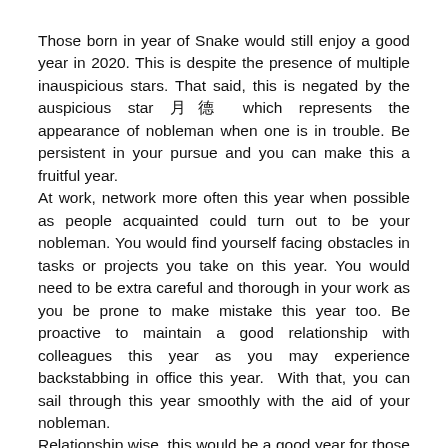Those born in year of Snake would still enjoy a good year in 2020. This is despite the presence of multiple inauspicious stars. That said, this is negated by the auspicious star 月德 which represents the appearance of nobleman when one is in trouble. Be persistent in your pursue and you can make this a fruitful year.
At work, network more often this year when possible as people acquainted could turn out to be your nobleman. You would find yourself facing obstacles in tasks or projects you take on this year. You would need to be extra careful and thorough in your work as you be prone to make mistake this year too. Be proactive to maintain a good relationship with colleagues this year as you may experience backstabbing in office this year. With that, you can sail through this year smoothly with the aid of your nobleman.
Relationship wise, this would be a good year for those single as there is a good chance of meeting your love one. You may meet someone when you least expect. There is a good chance of being introduced to someone this year. Couples would generally sail through the year harmoniously. That said, do not take the good relations for granted. Surprise your love one with the occasional